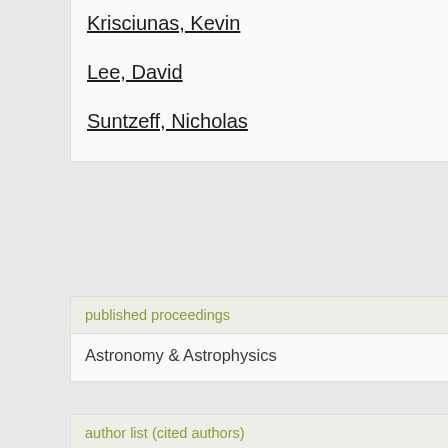Krisciunas, Kevin
Lee, David
Suntzeff, Nicholas
published proceedings
Astronomy & Astrophysics
author list (cited authors)
Hsiao, E. Y., Burns, C. R., Contreras, C., Hflich, P.,
publication date